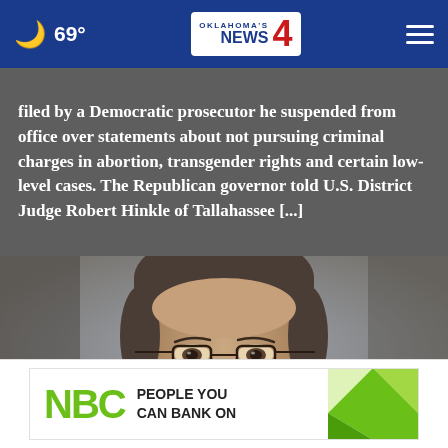69° Oklahoma's News 4
filed by a Democratic prosecutor he suspended from office over statements about not pursuing criminal charges in abortion, transgender rights and certain low-level cases. The Republican governor told U.S. District Judge Robert Hinkle of Tallahassee [...]
[Figure (photo): Close-up photo of a middle-aged woman with short dark hair and glasses, appearing to be speaking. She wears a dark jacket with a red item visible at the shoulder. Background is blurred gray/blue tones.]
[Figure (logo): NBC advertisement banner: 'NBC PEOPLE YOU CAN BANK ON' with green NBC logo letters and a green diamond pattern on the right.]